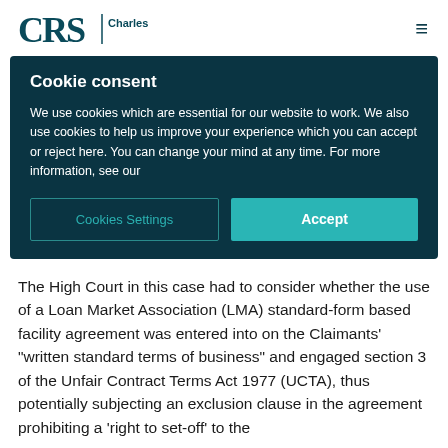CharlesRussell
Cookie consent
We use cookies which are essential for our website to work. We also use cookies to help us improve your experience which you can accept or reject here. You can change your mind at any time. For more information, see our
Cookies Settings | Accept
The High Court in this case had to consider whether the use of a Loan Market Association (LMA) standard-form based facility agreement was entered into on the Claimants' "written standard terms of business" and engaged section 3 of the Unfair Contract Terms Act 1977 (UCTA), thus potentially subjecting an exclusion clause in the agreement prohibiting a 'right to set-off' to the